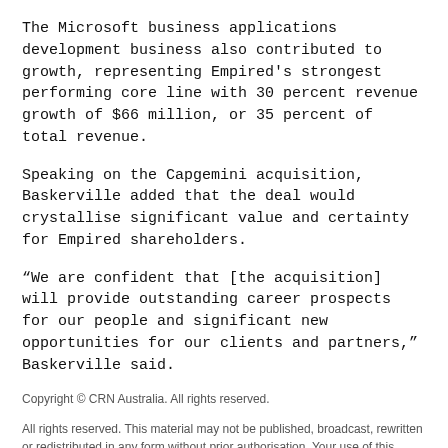The Microsoft business applications development business also contributed to growth, representing Empired's strongest performing core line with 30 percent revenue growth of $66 million, or 35 percent of total revenue.
Speaking on the Capgemini acquisition, Baskerville added that the deal would crystallise significant value and certainty for Empired shareholders.
“We are confident that [the acquisition] will provide outstanding career prospects for our people and significant new opportunities for our clients and partners,” Baskerville said.
Copyright © CRN Australia. All rights reserved.
All rights reserved. This material may not be published, broadcast, rewritten or redistributed in any form without prior authorisation. Your use of this website constitutes acceptance of nextmedia’s Privacy Policy and Terms & Conditions.